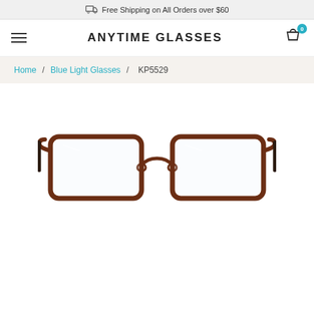Free Shipping on All Orders over $60
ANYTIME GLASSES
Home / Blue Light Glasses / KP5529
[Figure (photo): Front view of brown metal rectangular eyeglasses frames (model KP5529) on white background]